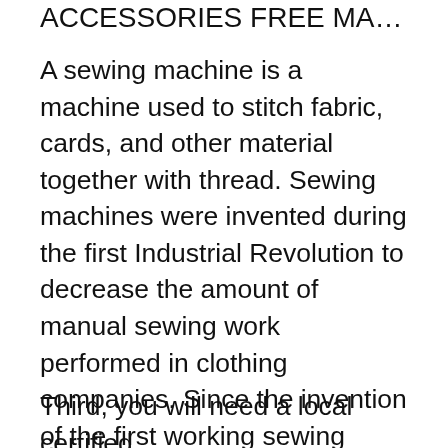ACCESSORIES FREE MANUAL BIT
A sewing machine is a machine used to stitch fabric, cards, and other material together with thread. Sewing machines were invented during the first Industrial Revolution to decrease the amount of manual sewing work performed in clothing companies. Since the invention of the first working sewing machinesвЂ"generally considered to have been the 28/07/2017В В· HOW TO DOWNLOAD FREE SINGER SEWING MACHINE MANUALS AND PARTS LISTS Andy Tube. Loading... Unsubscribe from Andy Tube?
Third, you will need a local certified